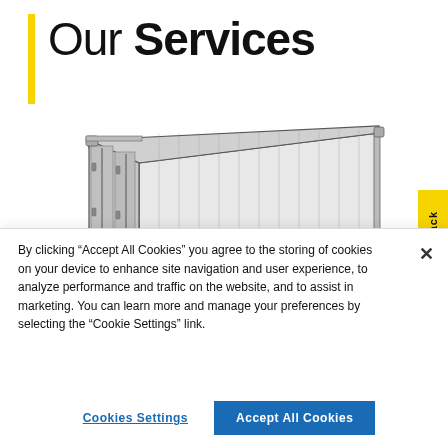Our Services
[Figure (illustration): Technical line drawing illustration of a shipping/storage container viewed from a front-left perspective angle, showing corrugated steel walls, corner posts, and door hardware.]
By clicking “Accept All Cookies” you agree to the storing of cookies on your device to enhance site navigation and user experience, to analyze performance and traffic on the website, and to assist in marketing. You can learn more and manage your preferences by selecting the “Cookie Settings” link.
Cookies Settings
Accept All Cookies